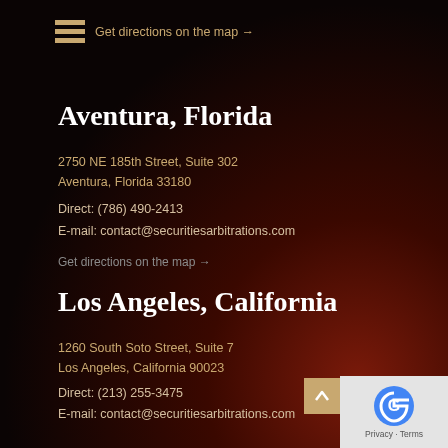Get directions on the map →
Aventura, Florida
2750 NE 185th Street, Suite 302
Aventura, Florida 33180
Direct: (786) 490-2413
E-mail: contact@securitiesarbitrations.com
Get directions on the map →
Los Angeles, California
1260 South Soto Street, Suite 7
Los Angeles, California 90023
Direct: (213) 255-3475
E-mail: contact@securitiesarbitrations.com
Get directions on the map →